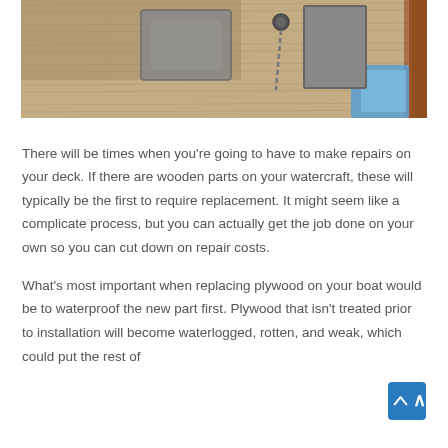[Figure (photo): Close-up photo of weathered wooden boat deck planks with metal hardware, a chain, orange/brown wood trim on the right, and blue sky visible in the corner]
There will be times when you're going to have to make repairs on your deck. If there are wooden parts on your watercraft, these will typically be the first to require replacement. It might seem like a complicate process, but you can actually get the job done on your own so you can cut down on repair costs.
What's most important when replacing plywood on your boat would be to waterproof the new part first. Plywood that isn't treated prior to installation will become waterlogged, rotten, and weak, which could put the rest of